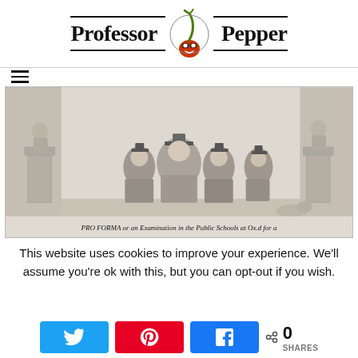[Figure (logo): Professor Pepper logo with chili pepper mascot wearing glasses, bold serif text on left and right with horizontal rules top and bottom]
[Figure (illustration): Historical engraving titled 'PRO FORMA or an Examination in the Public Schools at Ox.d for a DEGREE' showing academic figures in graduation robes and mortarboards seated together, with a dog in the foreground]
PRO FORMA or an Examination in the Public Schools at Ox.d for a DEGREE
This website uses cookies to improve your experience. We'll assume you're ok with this, but you can opt-out if you wish.
[Figure (infographic): Social share bar with Twitter (blue), Pinterest (red), and Facebook (blue) buttons, and a share count showing 0 SHARES]